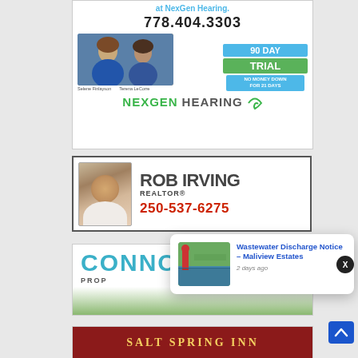[Figure (photo): NexGen Hearing advertisement. Shows two women (Selene Finlayson and Terena LeCorre), phone number 778.404.3303, 90 Day Trial offer, No Money Down For 21 Days. Green and blue NexGen Hearing logo.]
[Figure (photo): Rob Irving Realtor advertisement. Shows headshot photo of Rob Irving, large text ROB IRVING REALTOR, phone number 250-537-6275 in red.]
[Figure (photo): Connor Properties advertisement. Shows CONNOR in large teal letters with tent/camping icon and PROP text visible.]
[Figure (photo): Salt Spring Inn advertisement. Red background with yellow decorative text.]
Wastewater Discharge Notice – Maliview Estates
2 days ago